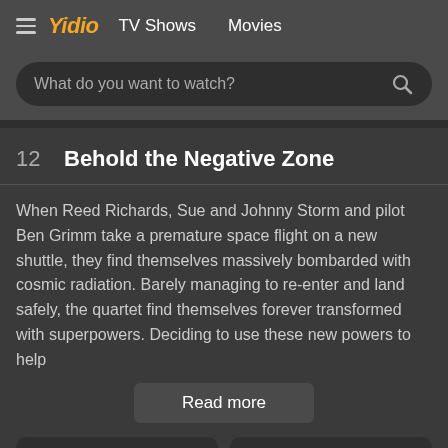≡ Yidio  TV Shows  Movies
What do you want to watch?
12  Behold the Negative Zone
When Reed Richards, Sue and Johnny Storm and pilot Ben Grimm take a premature space flight on a new shuttle, they find themselves massively bombarded with cosmic radiation. Barely managing to re-enter and land safely, the quartet find themselves forever transformed with superpowers. Deciding to use these new powers to help
Read more
[Figure (screenshot): Add to Watchlist button with playlist-add icon]
[Figure (screenshot): Mark All Watched button with checkmark icon]
Add to Watchlist
Mark All Watched